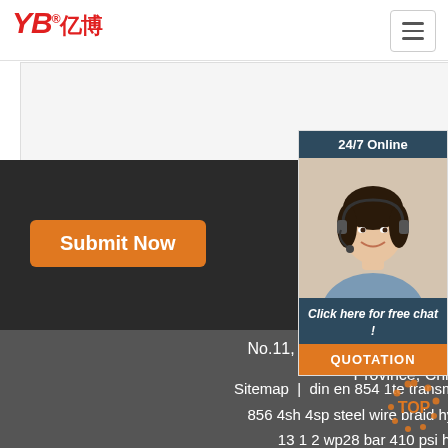[Figure (logo): YB亿博 company logo in red italic text with registered trademark symbol]
[Figure (other): Hamburger menu button (three horizontal lines) in top right corner]
[Figure (other): Gray form area / white input region]
Submit Now
[Figure (photo): 24/7 Online chat widget showing a woman with headset smiling, with text 'Click here for free chat!' and QUOTATION button]
No.11, Yangshan Road, Shaoling District, Luoyang Province, China
Sitemap | din en 854 1te transmission oil hose | en 856 4sh 4sp steel wire braid hydraulic hose | dn 13 1 2 wp28 bar 410 psi hose assembly